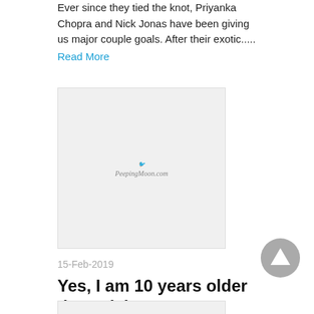Ever since they tied the knot, Priyanka Chopra and Nick Jonas have been giving us major couple goals. After their exotic.....
Read More
[Figure (logo): PeepingMoon.com logo on light gray background]
15-Feb-2019
Yes, I am 10 years older than Nick Jonas: Priyanka Chopra's unapologetic answer to a FAQ on Google
One of the most-frequently-asked questions, rather inquiries, after Priyanka Chopra's wedding to American singer Nick Jonas, was surrounding their age.....
Read More